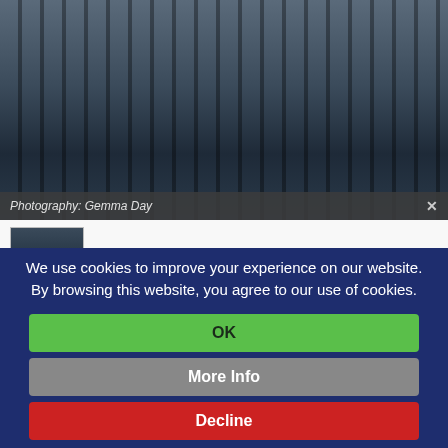[Figure (photo): Main large photo of a person in a dark pinstripe suit, with vertical bars/railings visible in the background. Semi-transparent dark overlay at bottom with caption.]
Photography: Gemma Day
[Figure (photo): Small thumbnail image of a person in a suit standing outdoors.]
We use cookies to improve your experience on our website. By browsing this website, you agree to our use of cookies.
OK
More Info
Decline